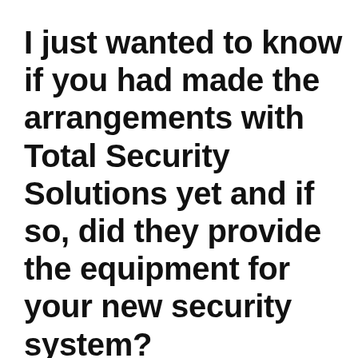I just wanted to know if you had made the arrangements with Total Security Solutions yet and if so, did they provide the equipment for your new security system?